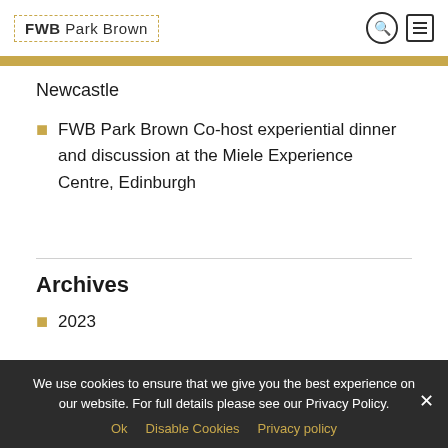FWB Park Brown
Newcastle
FWB Park Brown Co-host experiential dinner and discussion at the Miele Experience Centre, Edinburgh
Archives
2023
We use cookies to ensure that we give you the best experience on our website. For full details please see our Privacy Policy. Ok  Disable Cookies  Privacy policy